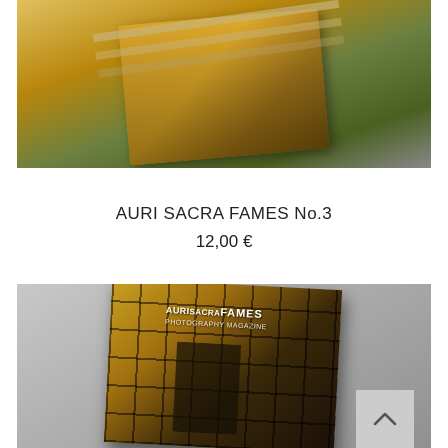[Figure (photo): A photobook lying on a grey surface, cover shows railway tracks and autumn foliage in golden-yellow tones]
AURI SACRA FAMES No.3
12,00 €
[Figure (photo): A photobook cover showing a grid/window pattern in gold and dark brown tones with 'AURISACRAFAMES' text on cover, scroll-to-top button visible in bottom right corner]